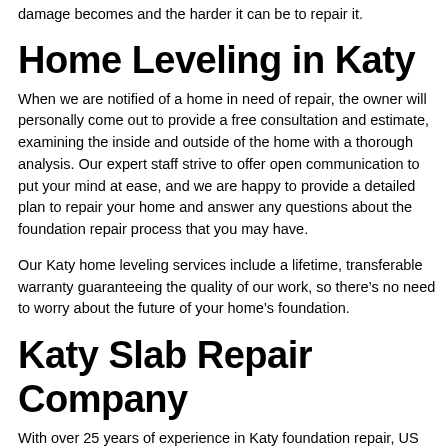damage becomes and the harder it can be to repair it.
Home Leveling in Katy
When we are notified of a home in need of repair, the owner will personally come out to provide a free consultation and estimate, examining the inside and outside of the home with a thorough analysis. Our expert staff strive to offer open communication to put your mind at ease, and we are happy to provide a detailed plan to repair your home and answer any questions about the foundation repair process that you may have.
Our Katy home leveling services include a lifetime, transferable warranty guaranteeing the quality of our work, so there’s no need to worry about the future of your home’s foundation.
Katy Slab Repair Company
With over 25 years of experience in Katy foundation repair, US Foundation provides comprehensive solutions that address all